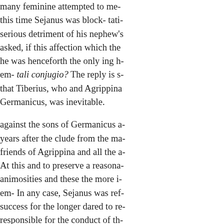many feminine attempted to me- this time Sejanus was block- tati- serious detriment of his nephew's asked, if this affection which the he was henceforth the only ing h- em- tali conjugio? The reply is s- that Tiberius, who and Agrippina Germanicus, was inevitable. against the sons of Germanicus a- years after the clude from the ma- friends of Agrippina and all the a- At this and to preserve a reasona- animosities and these the more i- em- In any case, Sejanus was ref- success for the longer dared to re- responsible for the conduct of th- that he should gous move. Agrip- to remarry. If we are to becollab- request by using his influence ov- difficulties and obstacles in thos- ambitions ble caprices which we- her head. But are we to faction. I- widowemployed; others no less intrigues, calumnies, proposal w-